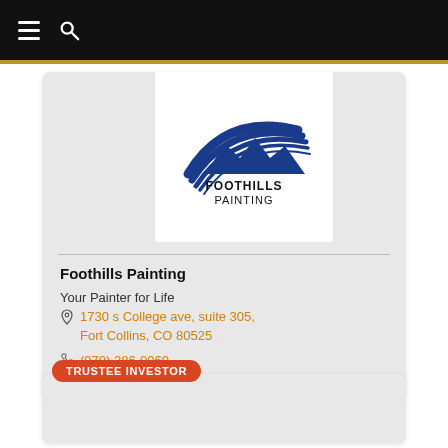Navigation bar with hamburger menu and search icon
[Figure (logo): Foothills Painting logo with blue brush strokes and mountain silhouette above text FOOTHILLS PAINTING]
Foothills Painting
Your Painter for Life
1730 s College ave, suite 305, Fort Collins, CO 80525
(970) 286-0060
TRUSTEE INVESTOR